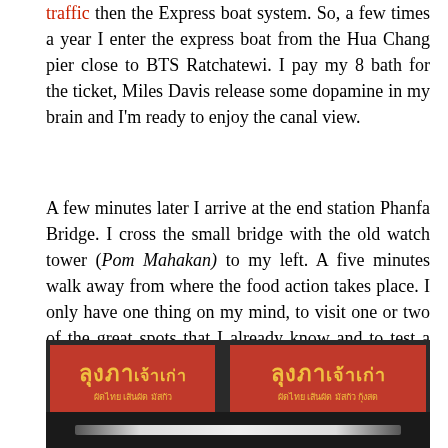traffic then the Express boat system. So, a few times a year I enter the express boat from the Hua Chang pier close to BTS Ratchatewi. I pay my 8 bath for the ticket, Miles Davis release some dopamine in my brain and I'm ready to enjoy the canal view.
A few minutes later I arrive at the end station Phanfa Bridge. I cross the small bridge with the old watch tower (Pom Mahakan) to my left. A five minutes walk away from where the food action takes place. I only have one thing on my mind, to visit one or two of the great spots that I already know and to test a couple of new once. Eat, walk and talk. It's a good life. I turn Miles off, find a seat and is ready to beat the screaming hunger deep down in my belly.
[Figure (photo): Photo of a Thai restaurant storefront with two red signs showing Thai text 'ลุงภาเจ้าเก่า' in yellow/gold lettering, with smaller Thai text below. The signs are mounted above what appears to be a food stall or restaurant entrance. Dark background with fluorescent lighting visible.]